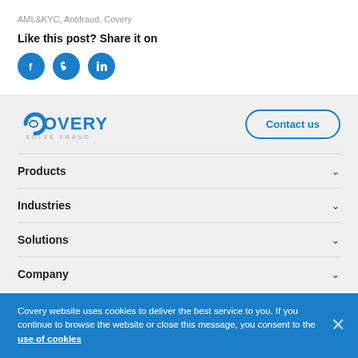AML&KYC, Antifraud, Covery
Like this post? Share it on
[Figure (illustration): Three circular social media icons: Facebook, Twitter, LinkedIn in blue]
[Figure (logo): Covery logo with tagline SOLVE FRAUD in blue]
Contact us
Products
Industries
Solutions
Company
Covery website uses cookies to deliver the best service to you. If you continue to browse the website or close this message, you consent to the use of cookies